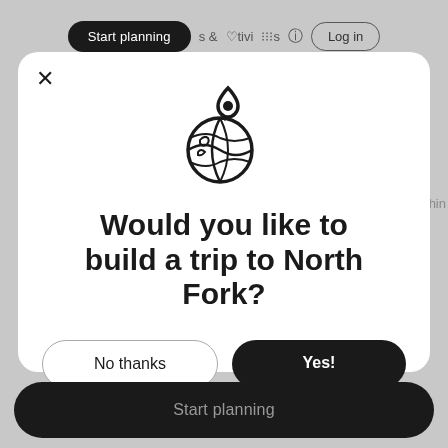Start planning   &   Activities   ?   Log in
[Figure (screenshot): Modal dialog on a travel planning website asking the user if they want to build a trip to North Fork, with a globe and location pin icon, a 'No thanks' outline button, and a 'Yes!' filled black button. Background shows a dimmed navigation bar.]
Would you like to build a trip to North Fork?
No thanks
Yes!
Start planning